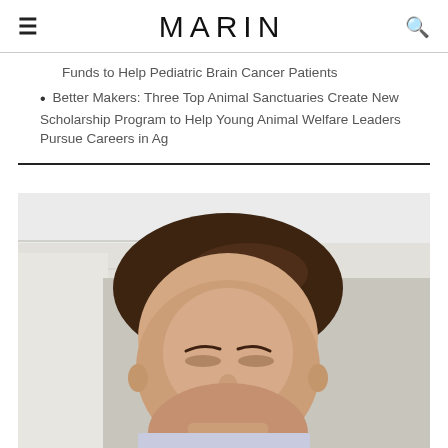MARIN
Funds to Help Pediatric Brain Cancer Patients
Better Makers: Three Top Animal Sanctuaries Create New Scholarship Program to Help Young Animal Welfare Leaders Pursue Careers in Ag
[Figure (photo): Close-up portrait photo of a woman with short brown hair against a light grey/white background, shot from approximately chin upward, slightly out of focus at the lower portion.]